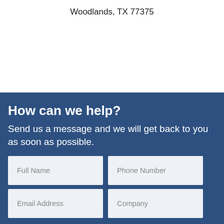Woodlands, TX 77375
How can we help?
Send us a message and we will get back to you as soon as possible.
[Figure (infographic): A web contact form with four input fields: Full Name, Phone Number, Email Address, Company on a dark blue background.]